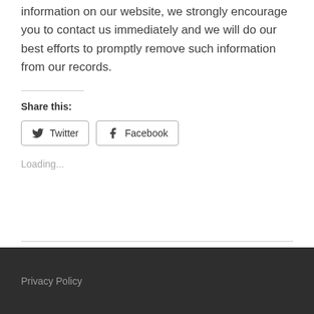information on our website, we strongly encourage you to contact us immediately and we will do our best efforts to promptly remove such information from our records.
Share this:
[Figure (other): Twitter and Facebook share buttons with icons]
Loading...
Privacy Policy